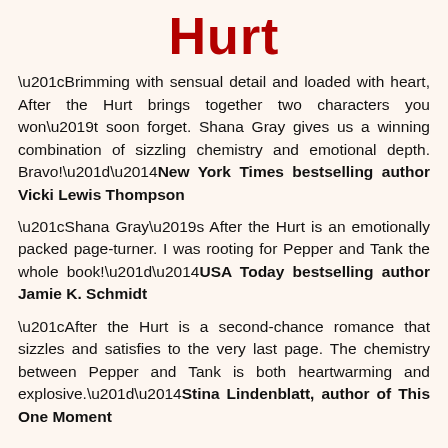Hurt
“Brimming with sensual detail and loaded with heart, After the Hurt brings together two characters you won’t soon forget. Shana Gray gives us a winning combination of sizzling chemistry and emotional depth. Bravo!”—New York Times bestselling author Vicki Lewis Thompson
“Shana Gray’s After the Hurt is an emotionally packed page-turner. I was rooting for Pepper and Tank the whole book!”—USA Today bestselling author Jamie K. Schmidt
“After the Hurt is a second-chance romance that sizzles and satisfies to the very last page. The chemistry between Pepper and Tank is both heartwarming and explosive.”—Stina Lindenblatt, author of This One Moment